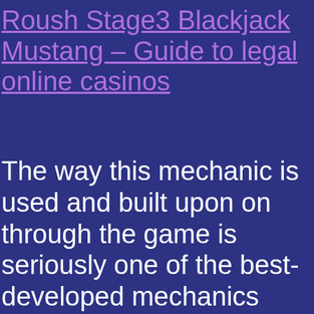Roush Stage3 Blackjack Mustang – Guide to legal online casinos
The way this mechanic is used and built upon on through the game is seriously one of the best-developed mechanics we've seen thus far, ovo casino men har man tur kan det alltså